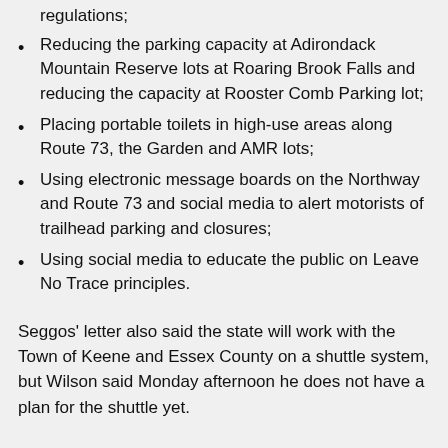regulations;
Reducing the parking capacity at Adirondack Mountain Reserve lots at Roaring Brook Falls and reducing the capacity at Rooster Comb Parking lot;
Placing portable toilets in high-use areas along Route 73, the Garden and AMR lots;
Using electronic message boards on the Northway and Route 73 and social media to alert motorists of trailhead parking and closures;
Using social media to educate the public on Leave No Trace principles.
Seggos' letter also said the state will work with the Town of Keene and Essex County on a shuttle system, but Wilson said Monday afternoon he does not have a plan for the shuttle yet.